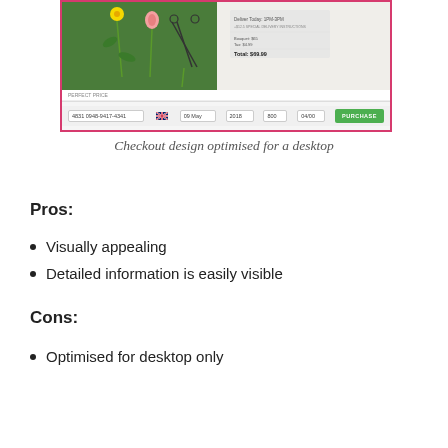[Figure (screenshot): Checkout design for a flower delivery website, showing a floral banner image, order summary, and a payment form with credit card number 4831 0948-9417-4341, date 09 May 2018, 800, 04/00, and a green PURCHASE button.]
Checkout design optimised for a desktop
Pros:
Visually appealing
Detailed information is easily visible
Cons:
Optimised for desktop only